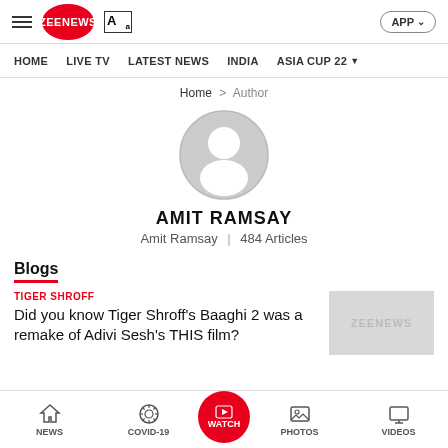ZEE NEWS  HOME  LIVE TV  LATEST NEWS  INDIA  ASIA CUP 22
Home > Author
[Figure (illustration): Default user avatar — grey circle with white silhouette of person]
AMIT RAMSAY
Amit Ramsay  |  484 Articles
Blogs
TIGER SHROFF
Did you know Tiger Shroff's Baaghi 2 was a remake of Adivi Sesh's THIS film?
NEWS  COVID-19  WATCH  PHOTOS  VIDEOS